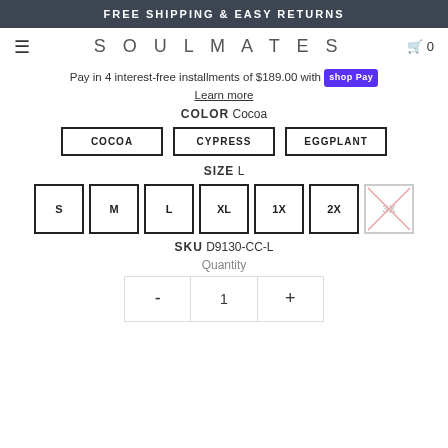FREE SHIPPING & EASY RETURNS
SOULMATES
Pay in 4 interest-free installments of $189.00 with shop Pay
Learn more
COLOR  Cocoa
COCOA | CYPRESS | EGGPLANT
SIZE  L
S | M | L | XL | 1X | 2X | 3X
SKU  D9130-CC-L
Quantity
- 1 +